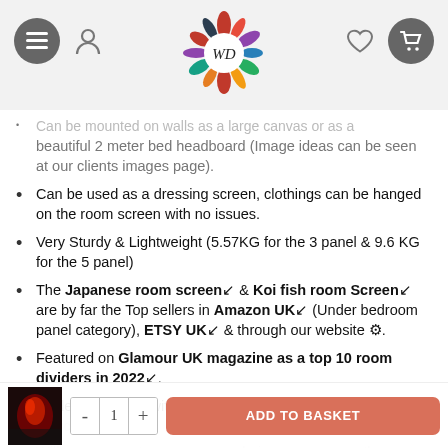WD logo header with navigation icons
Can be mounted on walls as a large canvas or as a beautiful 2 meter bed headboard (Image ideas can be seen at our clients images page).
Can be used as a dressing screen, clothings can be hanged on the room screen with no issues.
Very Sturdy & Lightweight (5.57KG for the 3 panel & 9.6 KG for the 5 panel)
The Japanese room screen & Koi fish room Screen are by far the Top sellers in Amazon UK (Under bedroom panel category), ETSY UK & through our website.
Featured on Glamour UK magazine as a top 10 room dividers in 2022.
Made with love & with 100% sustainable materials - Fully recyclable.
Will complement your space and give an accent to the